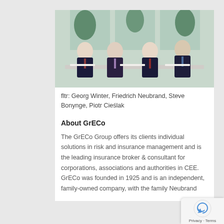[Figure (photo): Four men in dark business suits seated at a conference table with plants and windows in the background]
fltr: Georg Winter, Friedrich Neubrand, Steve Bonynge, Piotr Cieślak
About GrECo
The GrECo Group offers its clients individual solutions in risk and insurance management and is the leading insurance broker & consultant for corporations, associations and authorities in CEE. GrECo was founded in 1925 and is an independent, family-owned company, with the family Neubrand